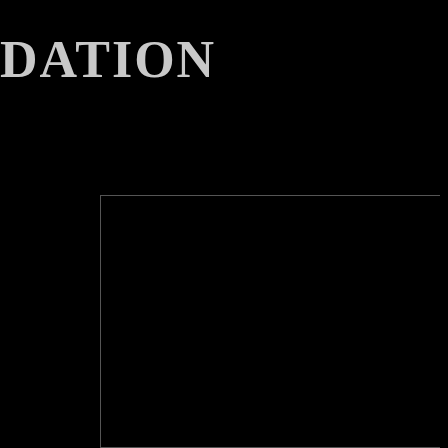DATION
sup port the miss ion of the PA, incl udin g the fun
eoge ns and Cons cious ness
Psyc holog y and Psyc hoth erapy
Para psyc holog y and Psyc hical Rese arch